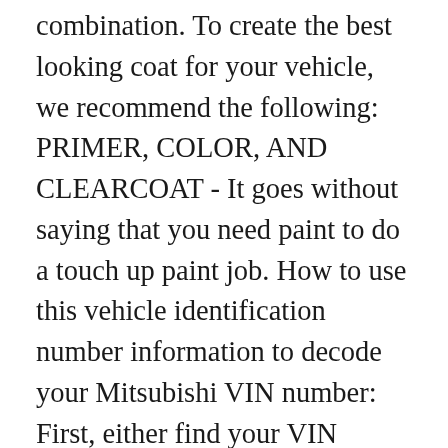combination. To create the best looking coat for your vehicle, we recommend the following: PRIMER, COLOR, AND CLEARCOAT - It goes without saying that you need paint to do a touch up paint job. How to use this vehicle identification number information to decode your Mitsubishi VIN number: First, either find your VIN number on your vehicle registration or car title or in vehicle maintenance records from your dealer. TUDCare comes free with the purchase of any of our Platinum Kits. Using VIN to look for paint code. mitsubishi car parts catalog for additional information if you're looking for parts to repair your vehicle. Buying a used car? If you have a van, the paint color code is sometimes placed under the carpet of